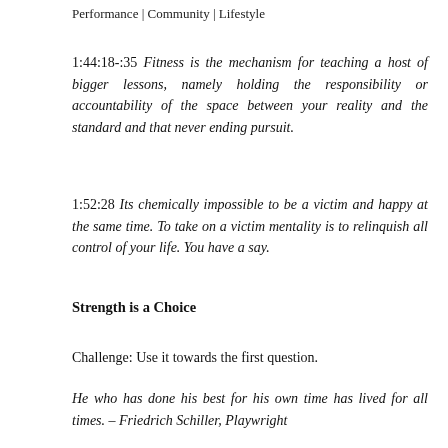Performance | Community | Lifestyle
1:44:18-:35  Fitness is the mechanism for teaching a host of bigger lessons, namely holding the responsibility or accountability of the space between your reality and the standard and that never ending pursuit.
1:52:28  Its chemically impossible to be a victim and happy at the same time. To take on a victim mentality is to relinquish all control of your life. You have a say.
Strength is a Choice
Challenge: Use it towards the first question.
He who has done his best for his own time has lived for all times. – Friedrich Schiller, Playwright